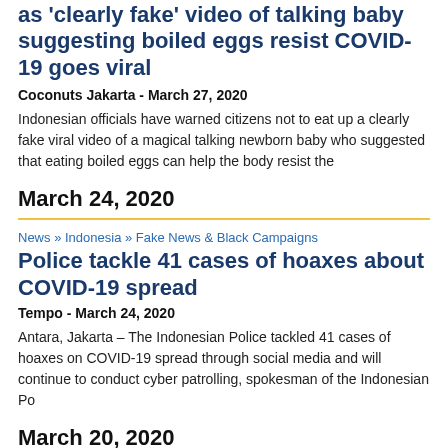as 'clearly fake' video of talking baby suggesting boiled eggs resist COVID-19 goes viral
Coconuts Jakarta - March 27, 2020
Indonesian officials have warned citizens not to eat up a clearly fake viral video of a magical talking newborn baby who suggested that eating boiled eggs can help the body resist the
March 24, 2020
News » Indonesia » Fake News & Black Campaigns
Police tackle 41 cases of hoaxes about COVID-19 spread
Tempo - March 24, 2020
Antara, Jakarta – The Indonesian Police tackled 41 cases of hoaxes on COVID-19 spread through social media and will continue to conduct cyber patrolling, spokesman of the Indonesian Po
March 20, 2020